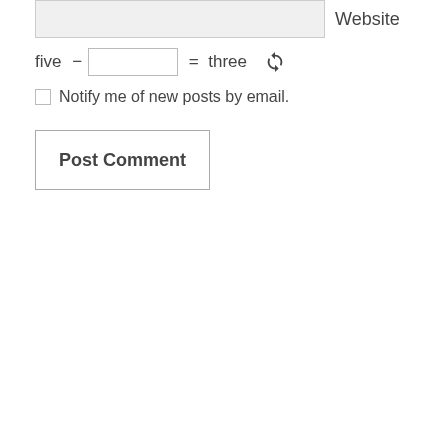Website
five  −  [input]  =  three  [refresh]
Notify me of new posts by email.
Post Comment